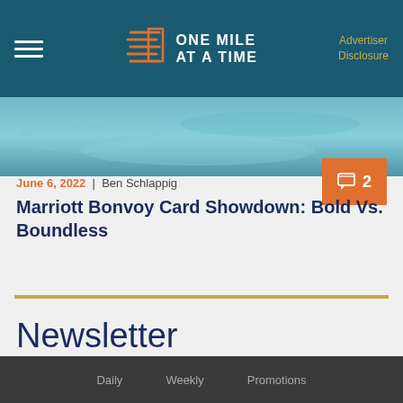ONE MILE AT A TIME | Advertiser Disclosure
[Figure (screenshot): Teal/blue water or pool background image strip]
June 6, 2022 | Ben Schlappig
Marriott Bonvoy Card Showdown: Bold Vs. Boundless
Newsletter
Email Address
SUBSCRIBE
Daily   Weekly   Promotions